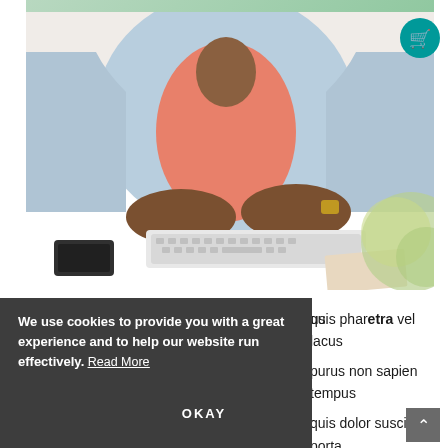[Figure (photo): Person wearing a denim jacket and coral/salmon top, typing on a white keyboard at a white desk. A smartphone is visible on the left, and a blurred green plant is on the right.]
Done. We use cookies to provide you with a great experience and to help our website run effectively. Read More OKAY quis pharetra vel lacus eu cu... purus non sapien tempus convallis. Nullam vel nisl quis dolor suscipit porta in non lacus. Integer eleifend lobortis felis id
We use cookies to provide you with a great experience and to help our website run effectively.
OKAY